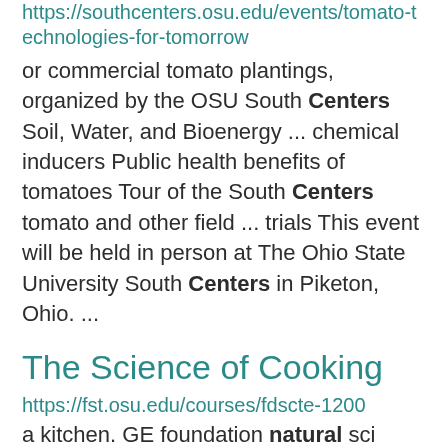https://southcenters.osu.edu/events/tomato-technologies-for-tomorrow
or commercial tomato plantings, organized by the OSU South Centers Soil, Water, and Bioenergy ... chemical inducers Public health benefits of tomatoes Tour of the South Centers tomato and other field ... trials This event will be held in person at The Ohio State University South Centers in Piketon, Ohio. ...
The Science of Cooking
https://fst.osu.edu/courses/fdscte-1200
a kitchen. GE foundation natural sci course. Undergraduate 4.0 1200 FDSCTE